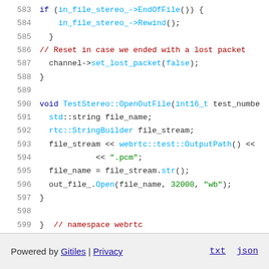583   if (in_file_stereo_->EndOfFile()) {
584       in_file_stereo_->Rewind();
585   }
586   // Reset in case we ended with a lost packet
587   channel->set_lost_packet(false);
588 }
589
590 void TestStereo::OpenOutFile(int16_t test_number
591   std::string file_name;
592   rtc::StringBuilder file_stream;
593   file_stream << webrtc::test::OutputPath() <<
594               << ".pcm";
595   file_name = file_stream.str();
596   out_file_.Open(file_name, 32000, "wb");
597 }
598
599 }  // namespace webrtc
Powered by Gitiles | Privacy    txt  json